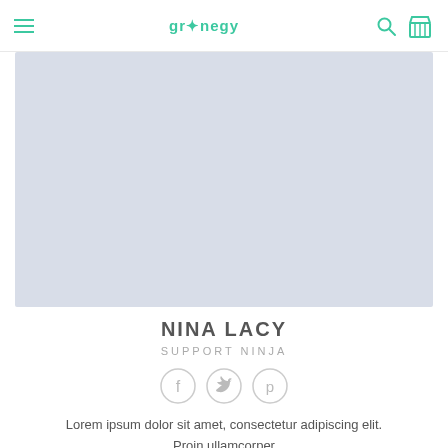gr♣negy — hamburger menu, search icon, cart icon
[Figure (photo): Large light blue-grey placeholder image rectangle occupying the upper portion of the page below the header]
NINA LACY
SUPPORT NINJA
[Figure (infographic): Three circular social media icons in grey outline style: Facebook (f), Twitter (bird), Pinterest (P)]
Lorem ipsum dolor sit amet, consectetur adipiscing elit. Proin ullamcorper